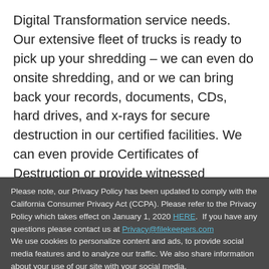Digital Transformation service needs. Our extensive fleet of trucks is ready to pick up your shredding – we can even do onsite shredding, and or we can bring back your records, documents, CDs, hard drives, and x-rays for secure destruction in our certified facilities. We can even provide Certificates of Destruction or provide witnessed destruction. All shredded paper documents are processed into post-consumer fiber to maximize our environmental impact. Our offsite document
Please note, our Privacy Policy has been updated to comply with the California Consumer Privacy Act (CCPA). Please refer to the Privacy Policy which takes effect on January 1, 2020 HERE.  If you have any questions please contact us at Privacy@filekeepers.com
We use cookies to personalize content and ads, to provide social media features and to analyze our traffic. We also share information about your use of our site with your social media,